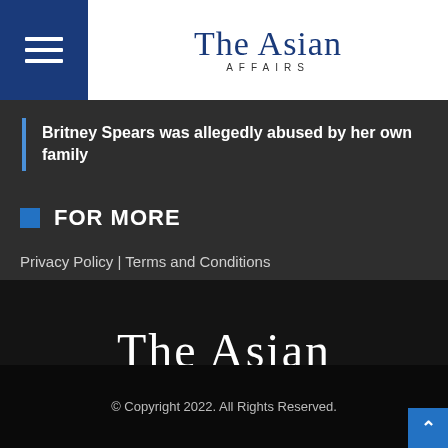The Asian Affairs
Britney Spears was allegedly abused by her own family
FOR MORE
Privacy Policy | Terms and Conditions
[Figure (logo): The Asian Affairs logo in white on dark background with decorative line and AFFAIRS subtitle]
© Copyright 2022. All Rights Reserved.